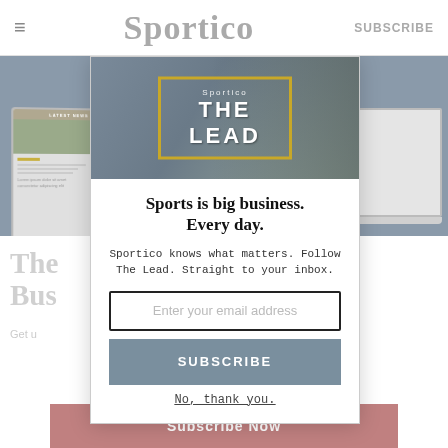≡   Sportico   SUBSCRIBE
[Figure (screenshot): Background showing tablet and laptop devices with Sportico website content, partially obscured by modal overlay. Includes blurred heading text 'The [Business]' and a rose-colored 'Subscribe Now' button at the bottom.]
[Figure (illustration): Modal dialog with Sportico 'THE LEAD' newsletter banner image at top (gold-framed text on blue-gray sports background). Below: bold headline 'Sports is big business. Every day.' followed by subtitle text 'Sportico knows what matters. Follow The Lead. Straight to your inbox.' Then an email input field and a blue-gray SUBSCRIBE button, with an underlined 'No, thank you.' link.]
Sports is big business. Every day.
Sportico knows what matters. Follow The Lead. Straight to your inbox.
Enter your email address
SUBSCRIBE
No, thank you.
Subscribe Now